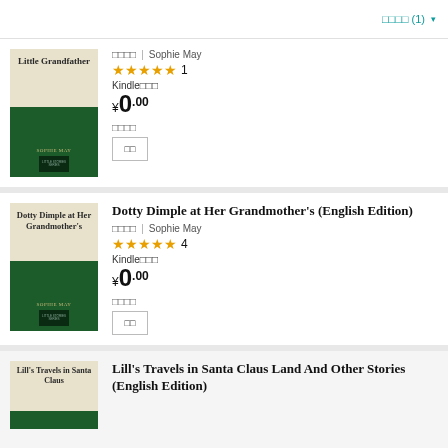□□□□ (1) ▾
[Figure (illustration): Book cover for 'Little Grandfather' by Sophie May — cream top with bold title text and dark green bottom panel with author name]
□□□□ | Sophie May
★★★★★ 1
Kindle□□□
¥0.00
□□□□
□□
[Figure (illustration): Book cover for 'Dotty Dimple at Her Grandmother's' by Sophie May — cream top with bold title text and dark green bottom panel]
Dotty Dimple at Her Grandmother's (English Edition)
□□□□ | Sophie May
★★★★★ 4
Kindle□□□
¥0.00
□□□□
□□
[Figure (illustration): Book cover for 'Lill's Travels in Santa Claus Land' — partial view showing cream top with title text]
Lill's Travels in Santa Claus Land And Other Stories (English Edition)